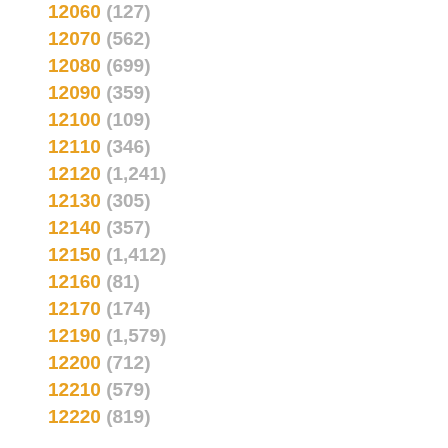12060 (127)
12070 (562)
12080 (699)
12090 (359)
12100 (109)
12110 (346)
12120 (1,241)
12130 (305)
12140 (357)
12150 (1,412)
12160 (81)
12170 (174)
12190 (1,579)
12200 (712)
12210 (579)
12220 (819)